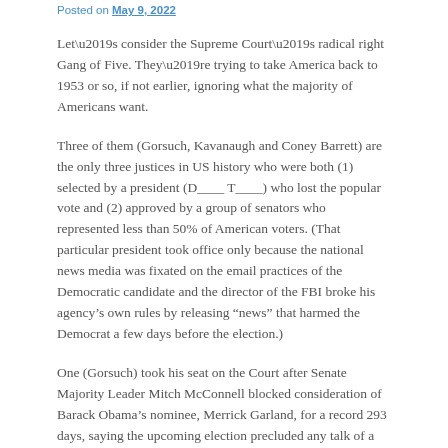Posted on May 9, 2022
Let’s consider the Supreme Court’s radical right Gang of Five. They’re trying to take America back to 1953 or so, if not earlier, ignoring what the majority of Americans want.
Three of them (Gorsuch, Kavanaugh and Coney Barrett) are the only three justices in US history who were both (1) selected by a president (D____ T____) who lost the popular vote and (2) approved by a group of senators who represented less than 50% of American voters. (That particular president took office only because the national news media was fixated on the email practices of the Democratic candidate and the director of the FBI broke his agency’s own rules by releasing “news” that harmed the Democrat a few days before the election.)
One (Gorsuch) took his seat on the Court after Senate Majority Leader Mitch McConnell blocked consideration of Barack Obama’s nominee, Merrick Garland, for a record 293 days, saying the upcoming election precluded any talk of a nominee.